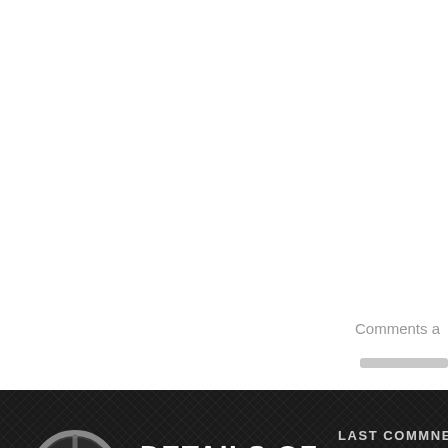Comments a
[Figure (screenshot): Gray horizontal input/search bar, partially visible]
[Figure (logo): Circular car steering wheel logo with Ferrari emblem in black and gray with yellow accent]
DETAILS OF CARS
LAST COMMNE